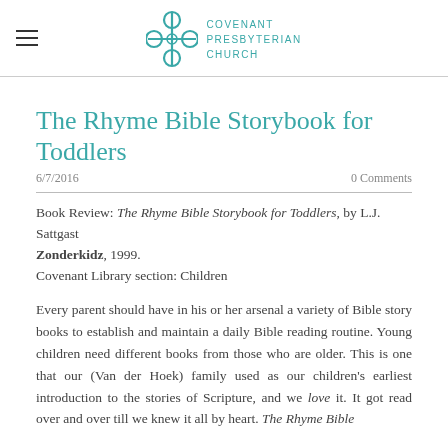Covenant Presbyterian Church
The Rhyme Bible Storybook for Toddlers
6/7/2016    0 Comments
Book Review: The Rhyme Bible Storybook for Toddlers, by L.J. Sattgast
Zonderkidz, 1999.
Covenant Library section: Children
Every parent should have in his or her arsenal a variety of Bible story books to establish and maintain a daily Bible reading routine. Young children need different books from those who are older. This is one that our (Van der Hoek) family used as our children's earliest introduction to the stories of Scripture, and we love it. It got read over and over till we knew it all by heart. The Rhyme Bible